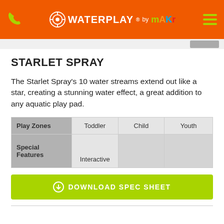WATERPLAY by MAKR
STARLET SPRAY
The Starlet Spray's 10 water streams extend out like a star, creating a stunning water effect, a great addition to any aquatic play pad.
| Play Zones | Toddler | Child | Youth |
| --- | --- | --- | --- |
| Special Features | Interactive |  |  |
DOWNLOAD SPEC SHEET
[Figure (illustration): Partial view of Starlet Spray product illustration at the bottom of the page]